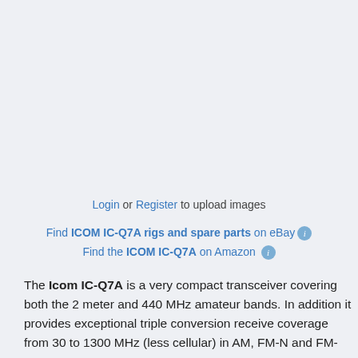[Figure (other): Empty image upload placeholder area with light blue-grey background]
Login or Register to upload images
Find ICOM IC-Q7A rigs and spare parts on eBay
Find the ICOM IC-Q7A on Amazon
The Icom IC-Q7A is a very compact transceiver covering both the 2 meter and 440 MHz amateur bands. In addition it provides exceptional triple conversion receive coverage from 30 to 1300 MHz (less cellular) in AM, FM-N and FM-W.